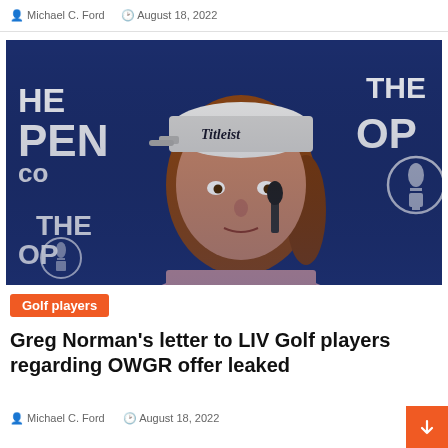Michael C. Ford  |  August 18, 2022
[Figure (photo): Golfer wearing a white Titleist cap and pink shirt at a press conference in front of 'The Open Championship' backdrop, speaking into a microphone]
Golf players
Greg Norman's letter to LIV Golf players regarding OWGR offer leaked
Michael C. Ford  |  August 18, 2022